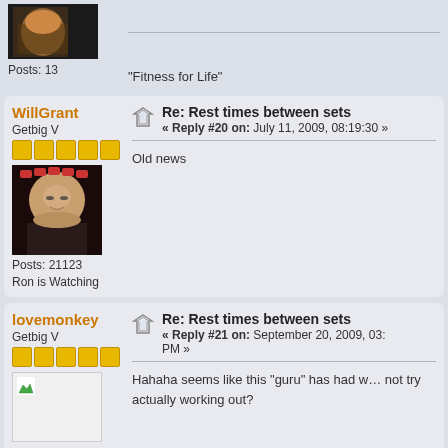[Figure (photo): Partial avatar image of a muscular figure at top of page]
Posts: 13
"Fitness for Life"
WillGrant
Getbig V
[Figure (photo): Portrait photo of a man with glasses]
Posts: 21123
Ron is Watching
Re: Rest times between sets
« Reply #20 on: July 11, 2009, 08:19:30 »
Old news
lovemonkey
Getbig V
Re: Rest times between sets
« Reply #21 on: September 20, 2009, 03: PM »
Hahaha seems like this "guru" has had w… not try actually working out?